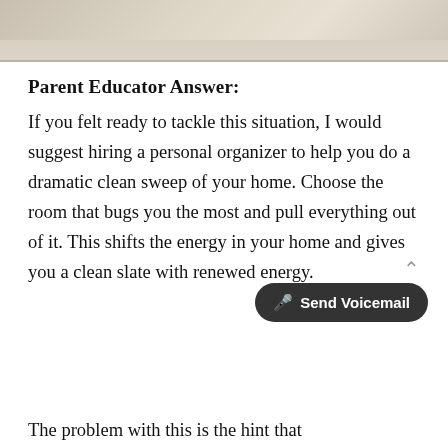[Figure (photo): Partial photo strip at top of page showing light beige/cream tones, likely a lifestyle or home organization image]
Parent Educator Answer:
If you felt ready to tackle this situation, I would suggest hiring a personal organizer to help you do a dramatic clean sweep of your home. Choose the room that bugs you the most and pull everything out of it. This shifts the energy in your home and gives you a clean slate with renewed energy.
The problem with this is the hint that